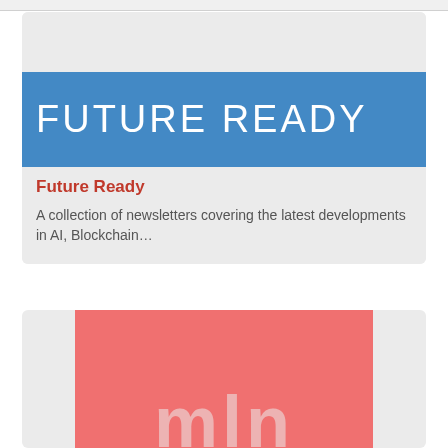[Figure (logo): Future Ready logo — white text on blue background reading FUTURE READY in large uppercase letters]
Future Ready
A collection of newsletters covering the latest developments in AI, Blockchain...
[Figure (logo): Partial logo on salmon/red background showing letters mln in large light-colored text]